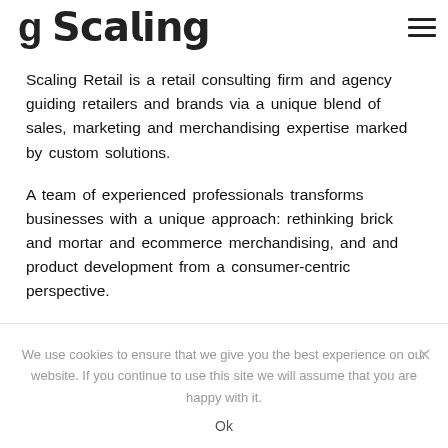Scaling Retail [logo partial] ≡
Scaling Retail is a retail consulting firm and agency guiding retailers and brands via a unique blend of sales, marketing and merchandising expertise marked by custom solutions.
A team of experienced professionals transforms businesses with a unique approach: rethinking brick and mortar and ecommerce merchandising, and and product development from a consumer-centric perspective.
We use cookies to ensure that we give you the best experience on our website. If you continue to use this site we will assume that you are happy with it.
Ok